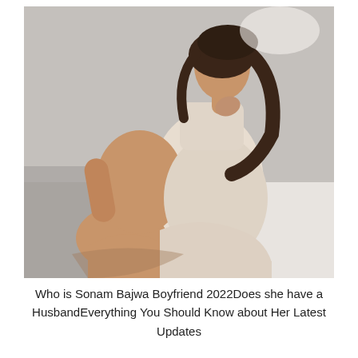[Figure (photo): A woman with long dark hair wearing a light beige/cream shirt dress, sitting on the floor leaning against a white surface, with one knee raised and hands near her collar, in a bright minimal interior setting.]
Who is Sonam Bajwa Boyfriend 2022Does she have a HusbandEverything You Should Know about Her Latest Updates